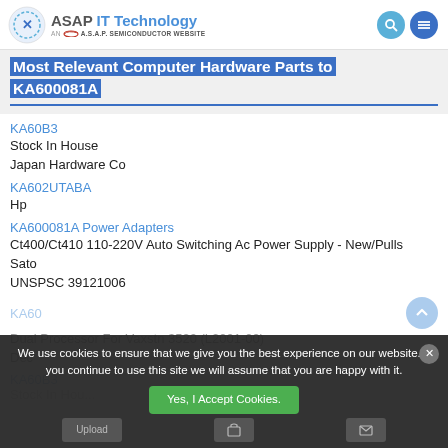ASAP IT Technology — AN A.S.A.P. SEMICONDUCTOR WEBSITE
Most Relevant Computer Hardware Parts to KA600081A
KA60B3
Stock In House
Japan Hardware Co
KA602UTABA
Hp
KA600081A Power Adapters
Ct400/Ct410 110-220V Auto Switching Ac Power Supply - New/Pulls
Sato
UNSPSC 39121006
KA60
Dual Processor For Vaxstn 3520 (L2001-00)
Dec
KA60B3
Stock In Hou...
We use cookies to ensure that we give you the best experience on our website. If you continue to use this site we will assume that you are happy with it.